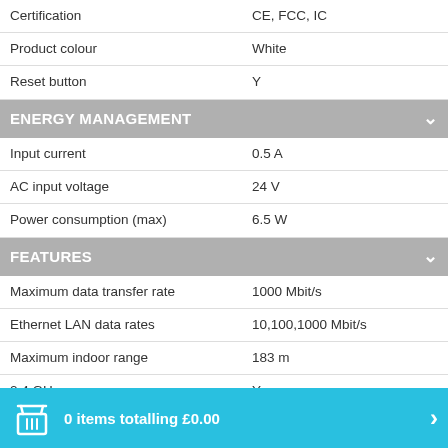| Certification | CE, FCC, IC |
| Product colour | White |
| Reset button | Y |
| ENERGY MANAGEMENT |  |
| Input current | 0.5 A |
| AC input voltage | 24 V |
| Power consumption (max) | 6.5 W |
| FEATURES |  |
| Maximum data transfer rate | 1000 Mbit/s |
| Ethernet LAN data rates | 10,100,1000 Mbit/s |
| Maximum indoor range | 183 m |
| 2.4 GHz | Y |
| 5 GHz | Y |
| Maximum data transfer rate (5 GHz) | 867 Mbit/s |
| OPERATIONAL CONDITIONS |  |
| Operating relative humidity (H-H) | 5 - 95% |
| Operating temperature (T-T) | -10 - 70 °C |
| PACKAGING DATA |  |
0 items totalling £0.00